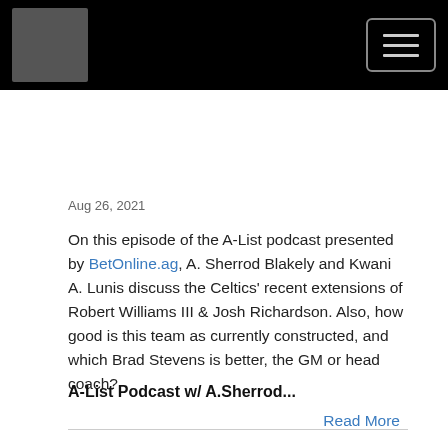[Figure (logo): A-List podcast logo with person in white suit on dark background, with coin overlay]
Aug 26, 2021
On this episode of the A-List podcast presented by BetOnline.ag, A. Sherrod Blakely and Kwani A. Lunis discuss the Celtics' recent extensions of Robert Williams III & Josh Richardson. Also, how good is this team as currently constructed, and which Brad Stevens is better, the GM or head coach?
A-List Podcast w/ A.Sherrod...
Read More